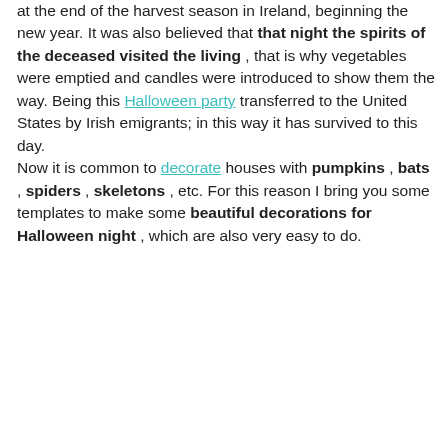at the end of the harvest season in Ireland, beginning the new year. It was also believed that that night the spirits of the deceased visited the living , that is why vegetables were emptied and candles were introduced to show them the way. Being this Halloween party transferred to the United States by Irish emigrants; in this way it has survived to this day.
Now it is common to decorate houses with pumpkins , bats , spiders , skeletons , etc. For this reason I bring you some templates to make some beautiful decorations for Halloween night , which are also very easy to do.